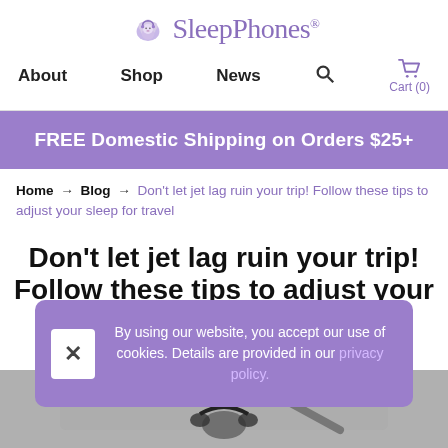SleepPhones® — About | Shop | News | Search | Cart (0)
FREE Domestic Shipping on Orders $25+
Home → Blog → Don't let jet lag ruin your trip! Follow these tips to adjust your sleep for travel
Don't let jet lag ruin your trip! Follow these tips to adjust your sleep for
By using our website, you accept our use of cookies. Details are provided in our privacy policy.
[Figure (screenshot): Partial view of laptop or device at bottom of page]